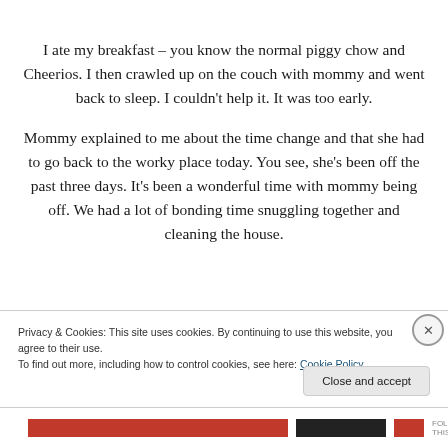I ate my breakfast – you know the normal piggy chow and Cheerios.  I then crawled up on the couch with mommy and went back to sleep.  I couldn't help it.  It was too early.
Mommy explained to me about the time change and that she had to go back to the worky place today.  You see, she's been off the past three days.  It's been a wonderful time with mommy being off.  We had a lot of bonding time snuggling together and cleaning the house.
Privacy & Cookies: This site uses cookies. By continuing to use this website, you agree to their use.
To find out more, including how to control cookies, see here: Cookie Policy
Close and accept